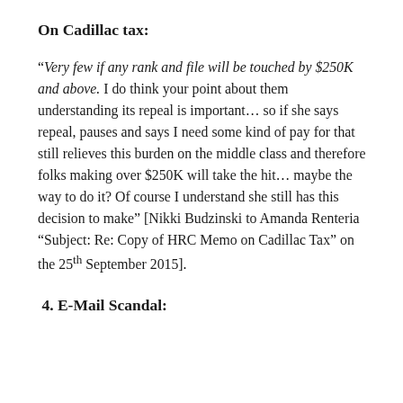On Cadillac tax:
“Very few if any rank and file will be touched by $250K and above. I do think your point about them understanding its repeal is important… so if she says repeal, pauses and says I need some kind of pay for that still relieves this burden on the middle class and therefore folks making over $250K will take the hit… maybe the way to do it? Of course I understand she still has this decision to make” [Nikki Budzinski to Amanda Renteria “Subject: Re: Copy of HRC Memo on Cadillac Tax” on the 25th September 2015].
4. E-Mail Scandal: